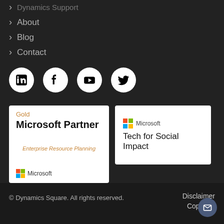› Dynamics Support
› About
› Blog
› Contact
[Figure (illustration): Social media icons row: LinkedIn, Facebook, YouTube, Twitter - white circles on dark background]
[Figure (logo): Gold Microsoft Partner Enterprise Resource Planning badge with Microsoft logo]
[Figure (logo): Microsoft Tech for Social Impact badge with Microsoft logo]
© Dynamics Square. All rights reserved.   Disclaimer   Copyright